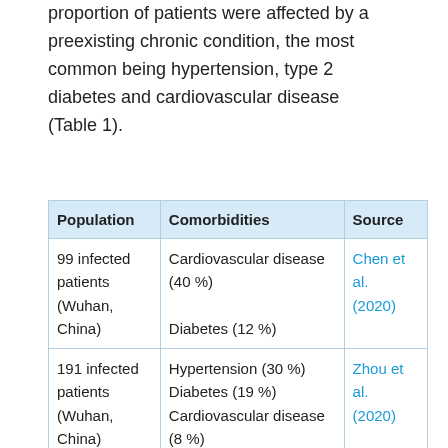proportion of patients were affected by a preexisting chronic condition, the most common being hypertension, type 2 diabetes and cardiovascular disease (Table 1).
| Population | Comorbidities | Source |
| --- | --- | --- |
| 99 infected patients (Wuhan, China) | Cardiovascular disease (40 %)
Diabetes (12 %) | Chen et al. (2020) |
| 191 infected patients (Wuhan, China) | Hypertension (30 %)
Diabetes (19 %)
Cardiovascular disease (8 %) | Zhou et al. (2020) |
| 138 infected patients (Wuhan, China) | Hypertension (31 %)
Diabetes (10 %)
Cardiovascular disease | Wang et al. (2020) |